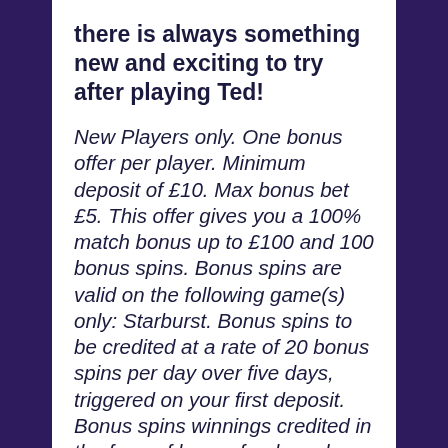there is always something new and exciting to try after playing Ted!
New Players only. One bonus offer per player. Minimum deposit of £10. Max bonus bet £5. This offer gives you a 100% match bonus up to £100 and 100 bonus spins. Bonus spins are valid on the following game(s) only: Starburst. Bonus spins to be credited at a rate of 20 bonus spins per day over five days, triggered on your first deposit. Bonus spins winnings credited in the form of bonus funds and capped at £50. Bonus funds must be used within 30